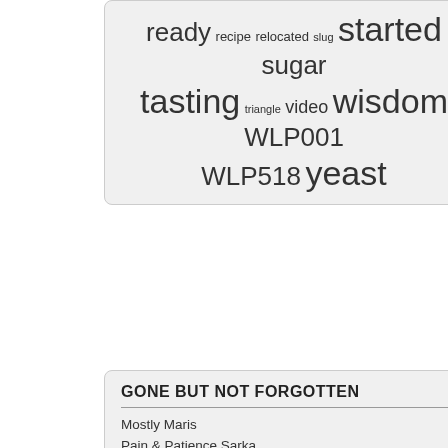[Figure (other): Word cloud containing brewing-related terms in varying sizes: ready, recipe, relocated, slug, started, sugar, tasting, triangle, video, wisdom, WLP001, WLP518, yeast]
GONE BUT NOT FORGOTTEN
Mostly Maris
Pain & Patience Sarka
Farmyard Runt
Leftover Blonde
Pain & Patience Yeti
Pain & Patience Sarka
Opshaug Pale
Twisty Listy
Golden Wave Ale
Second Extract Blonde
Woodforde's Bure Gold